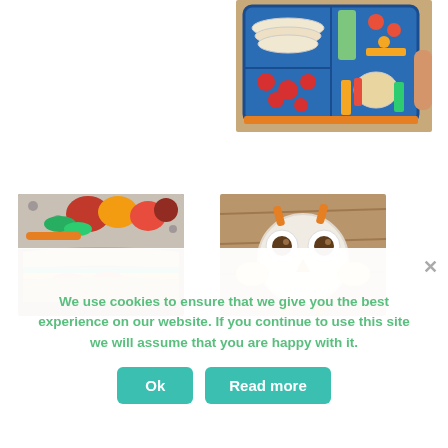[Figure (photo): A bento-style lunch box with sections containing rolled tortillas/wraps, strawberries, tomatoes, vegetables (carrots, cucumber, peppers), and a small pot of hummus or dip, held by a hand on a wooden surface.]
[Figure (photo): A filled sandwich or ciabatta roll with visible layers of salad leaves, yellow pepper, and radish slices, alongside colorful bell peppers (red, yellow, orange), carrots, and radishes on a spotted surface.]
[Figure (photo): A fun owl-face made from a sandwich, with chocolate ball eyes, carrot beak and feet, and banana slice ears/cheeks arranged on a wooden board.]
We use cookies to ensure that we give you the best experience on our website. If you continue to use this site we will assume that you are happy with it.